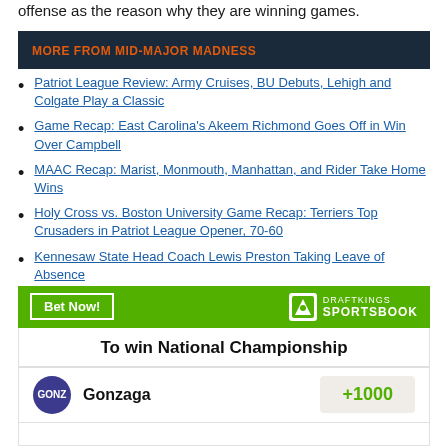offense as the reason why they are winning games.
MORE FROM MID-MAJOR MADNESS
Patriot League Review: Army Cruises, BU Debuts, Lehigh and Colgate Play a Classic
Game Recap: East Carolina's Akeem Richmond Goes Off in Win Over Campbell
MAAC Recap: Marist, Monmouth, Manhattan, and Rider Take Home Wins
Holy Cross vs. Boston University Game Recap: Terriers Top Crusaders in Patriot League Opener, 70-60
Kennesaw State Head Coach Lewis Preston Taking Leave of Absence
[Figure (other): DraftKings Sportsbook advertisement banner with Bet Now button and logo]
To win National Championship
Gonzaga +1000